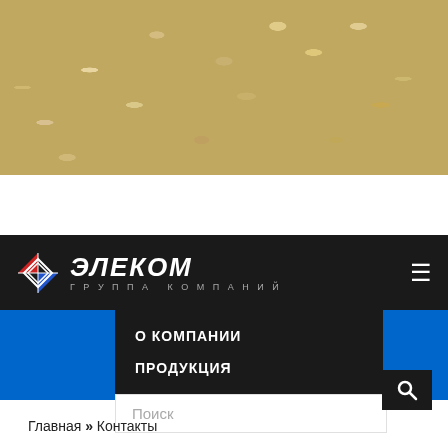[Figure (photo): Close-up photo of golden/champagne colored sequins and spangles on mesh fabric]
[Figure (logo): ЭЛЕКОМ (ELECOM) Группа компаний logo with diamond/rhombus shape in red, white and blue colors]
О КОМПАНИИ
ПРОДУКЦИЯ
КОНТАКТЫ
Поиск
Главная » Контакты